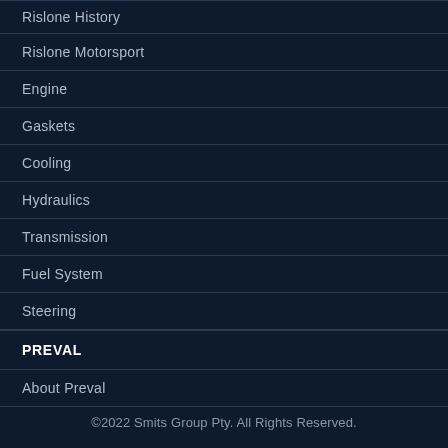Rislone History
Rislone Motorsport
Engine
Gaskets
Cooling
Hydraulics
Transmission
Fuel System
Steering
PREVAL
About Preval
©2022 Smits Group Pty. All Rights Reserved.